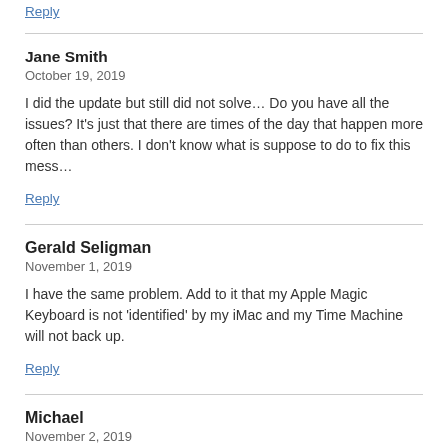Reply
Jane Smith
October 19, 2019
I did the update but still did not solve… Do you have all the issues? It's just that there are times of the day that happen more often than others. I don't know what is suppose to do to fix this mess…
Reply
Gerald Seligman
November 1, 2019
I have the same problem. Add to it that my Apple Magic Keyboard is not 'identified' by my iMac and my Time Machine will not back up.
Reply
Michael
November 2, 2019